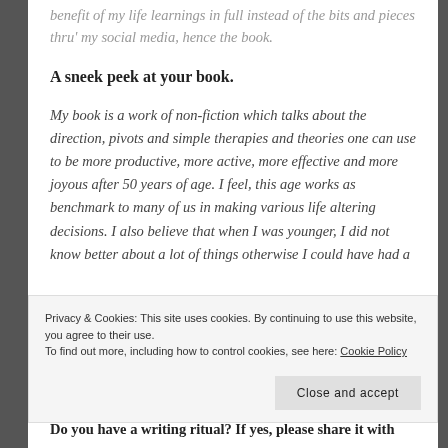benefit of my life learnings in full instead of the bits and pieces thru' my social media, hence the book.
A sneek peek at your book.
My book is a work of non-fiction which talks about the direction, pivots and simple therapies and theories one can use to be more productive, more active, more effective and more joyous after 50 years of age. I feel, this age works as benchmark to many of us in making various life altering decisions. I also believe that when I was younger, I did not know better about a lot of things otherwise I could have had a
Privacy & Cookies: This site uses cookies. By continuing to use this website, you agree to their use. To find out more, including how to control cookies, see here: Cookie Policy
Close and accept
Do you have a writing ritual? If yes, please share it with